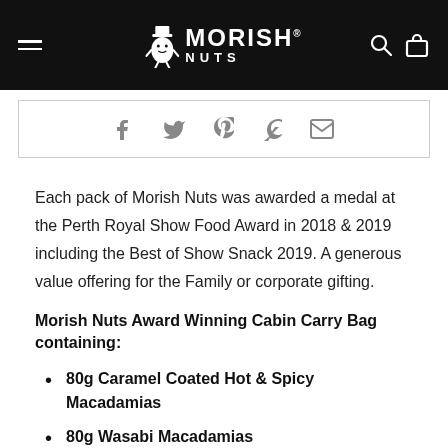MORISH NUTS
[Figure (other): Social sharing icons: Facebook, Twitter, Pinterest, Fancy, Email]
Each pack of Morish Nuts was awarded a medal at the Perth Royal Show Food Award in 2018 & 2019 including the Best of Show Snack 2019. A generous value offering for the Family or corporate gifting.
Morish Nuts Award Winning Cabin Carry Bag containing:
80g Caramel Coated Hot & Spicy Macadamias
80g Wasabi Macadamias